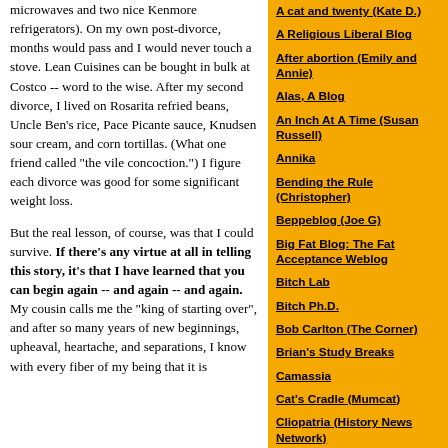microwaves and two nice Kenmore refrigerators).   On my own post-divorce, months would pass and I would never touch a stove.  Lean Cuisines can be bought in bulk at Costco -- word to the wise.  After my second divorce, I lived on Rosarita refried beans, Uncle Ben's rice, Pace Picante sauce, Knudsen sour cream, and corn tortillas.  (What one friend called "the vile concoction.")  I figure each divorce was good for some significant weight loss.
But the real lesson, of course, was that I could survive.  If there's any virtue at all in telling this story, it's that I have learned that you can begin again -- and again -- and again.  My cousin calls me the "king of starting over", and after so many years of new beginnings, upheaval, heartache, and separations, I know with every fiber of my being that it is
A cat and twenty (Kate D.)
A Religious Liberal Blog
After abortion (Emily and Annie)
Alas, A Blog
An Inch At A Time (Susan Russell)
Annika
Bending the Rule (Christopher)
Beppeblog (Joe G)
Big Fat Blog: The Fat Acceptance Weblog
Bitch Lab
Bitch Ph.D.
Bob Carlton (The Corner)
Brian's Study Breaks
Camassia
Cat's Cradle (Mumcat)
Cliopatria (History News Network)
Connie Chung
Creek Running North (Chris Clarke)